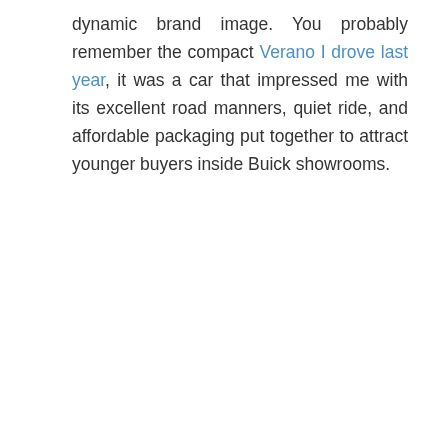dynamic brand image. You probably remember the compact Verano I drove last year, it was a car that impressed me with its excellent road manners, quiet ride, and affordable packaging put together to attract younger buyers inside Buick showrooms.